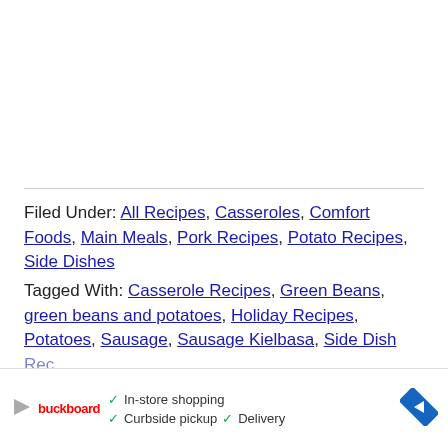Filed Under: All Recipes, Casseroles, Comfort Foods, Main Meals, Pork Recipes, Potato Recipes, Side Dishes
Tagged With: Casserole Recipes, Green Beans, green beans and potatoes, Holiday Recipes, Potatoes, Sausage, Sausage Kielbasa, Side Dish Recipes
[Figure (other): Advertisement banner with play button, store brand logo (red text), checkmarks for In-store shopping, Curbside pickup, Delivery, and a blue diamond navigation icon]